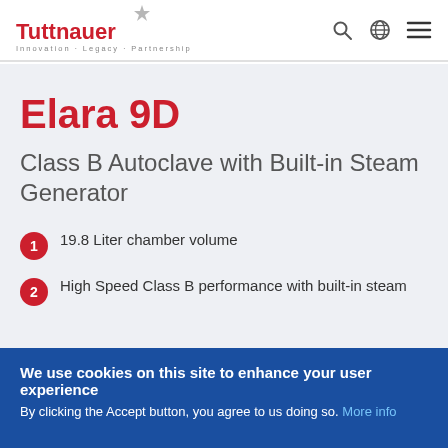Tuttnauer – Innovation · Legacy · Partnership
Elara 9D
Class B Autoclave with Built-in Steam Generator
19.8 Liter chamber volume
High Speed Class B performance with built-in steam
We use cookies on this site to enhance your user experience
By clicking the Accept button, you agree to us doing so. More info